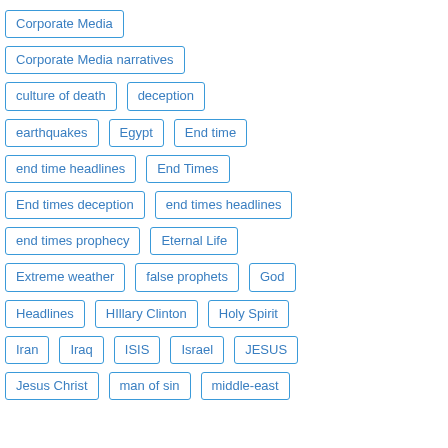Corporate Media
Corporate Media narratives
culture of death
deception
earthquakes
Egypt
End time
end time headlines
End Times
End times deception
end times headlines
end times prophecy
Eternal Life
Extreme weather
false prophets
God
Headlines
HIllary Clinton
Holy Spirit
Iran
Iraq
ISIS
Israel
JESUS
Jesus Christ
man of sin
middle-east